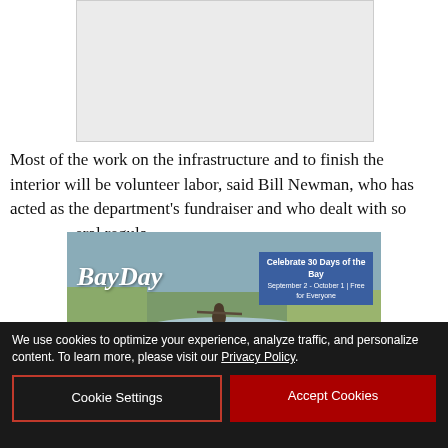[Figure (photo): Light gray image placeholder rectangle at the top center of the page]
Most of the work on the infrastructure and to finish the interior will be volunteer labor, said Bill Newman, who has acted as the department's fundraiser and who dealt with so... eral regula...
[Figure (photo): BayDay advertisement banner. Shows a kayaker on a bay marsh waterway. Text overlay: 'BayDay' in script font, and a blue box reading 'Celebrate 30 Days of the Bay / September 2 - October 1 | Free for Everyone']
"A lot o... t has
We use cookies to optimize your experience, analyze traffic, and personalize content. To learn more, please visit our Privacy Policy.